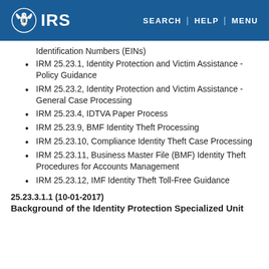IRS | SEARCH | HELP | MENU
Identification Numbers (EINs)
IRM 25.23.1, Identity Protection and Victim Assistance - Policy Guidance
IRM 25.23.2, Identity Protection and Victim Assistance - General Case Processing
IRM 25.23.4, IDTVA Paper Process
IRM 25.23.9, BMF Identity Theft Processing
IRM 25.23.10, Compliance Identity Theft Case Processing
IRM 25.23.11, Business Master File (BMF) Identity Theft Procedures for Accounts Management
IRM 25.23.12, IMF Identity Theft Toll-Free Guidance
25.23.3.1.1 (10-01-2017)
Background of the Identity Protection Specialized Unit